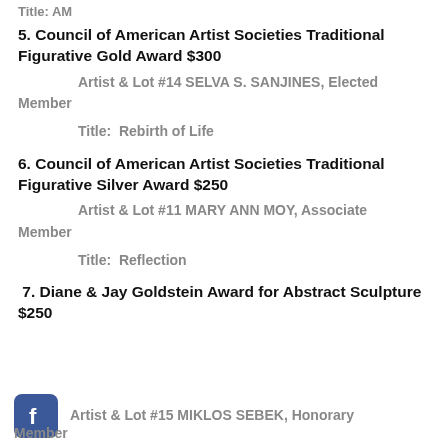Title: AM
5. Council of American Artist Societies Traditional Figurative Gold Award $300
Artist & Lot #14 SELVA S. SANJINES, Elected Member
Title:  Rebirth of Life
6. Council of American Artist Societies Traditional Figurative Silver Award $250
Artist & Lot #11 MARY ANN MOY, Associate Member
Title:  Reflection
7. Diane & Jay Goldstein Award for Abstract Sculpture $250
[Figure (logo): Facebook logo icon, blue rounded square with white 'f']
Artist & Lot #15 MIKLOS SEBEK, Honorary Member